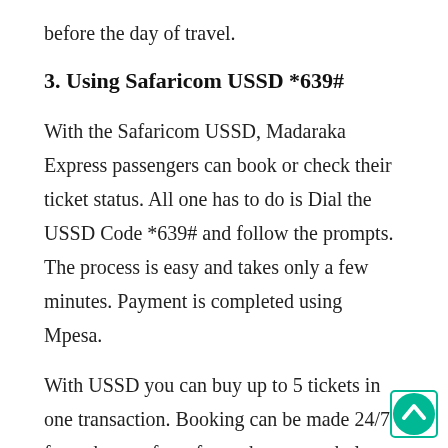before the day of travel.
3. Using Safaricom USSD *639#
With the Safaricom USSD, Madaraka Express passengers can book or check their ticket status. All one has to do is Dial the USSD Code *639# and follow the prompts. The process is easy and takes only a few minutes. Payment is completed using Mpesa.
With USSD you can buy up to 5 tickets in one transaction. Booking can be made 24/7 from the comfort of your home, workplace, or ev